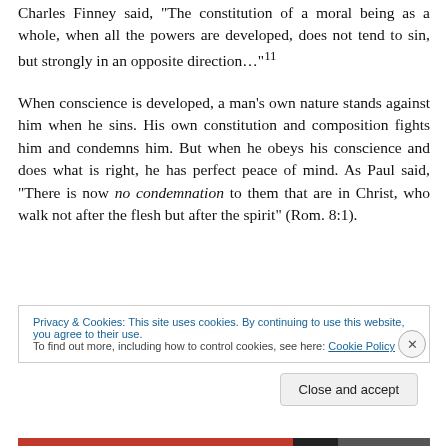Charles Finney said, "The constitution of a moral being as a whole, when all the powers are developed, does not tend to sin, but strongly in an opposite direction…"11
When conscience is developed, a man's own nature stands against him when he sins. His own constitution and composition fights him and condemns him. But when he obeys his conscience and does what is right, he has perfect peace of mind. As Paul said, “There is now no condemnation to them that are in Christ, who walk not after the flesh but after the spirit” (Rom. 8:1).
Privacy & Cookies: This site uses cookies. By continuing to use this website, you agree to their use.
To find out more, including how to control cookies, see here: Cookie Policy
Close and accept